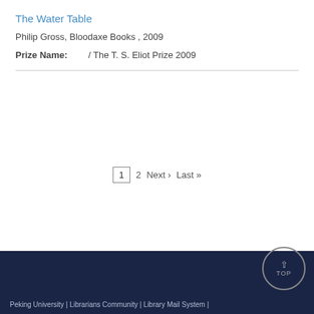The Water Table
Philip Gross, Bloodaxe Books , 2009
Prize Name: 　　/ The T. S. Eliot Prize 2009
1  2  Next ›  Last »
Peking University | Librarians Community | Library Mail System |